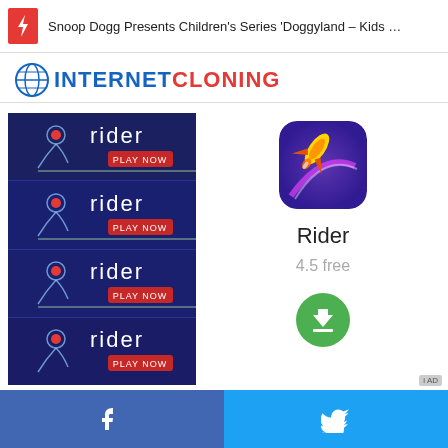Snoop Dogg Presents Children's Series 'Doggyland – Kids …'
[Figure (logo): InternetCloning website logo with globe icon, INTERNET in blue and CLONING in red]
[Figure (screenshot): Rider game advertisement image repeated 4 times showing a figure on dark blue background with PLAY NOW button]
[Figure (illustration): Rider app icon - yellow/gold spaceship on purple background with rounded corners]
Rider
4.5 free
[Figure (other): Green circular download button with down arrow icon]